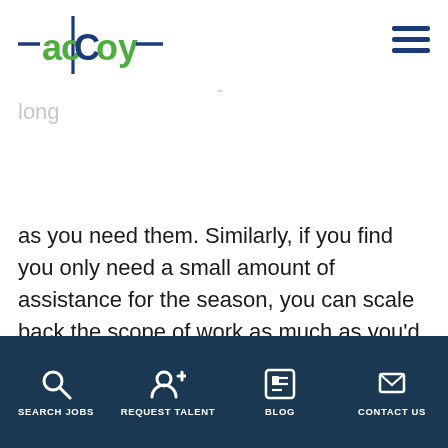acCoy logo and navigation
they work with your team. If you have extensions, they will be able continue to work with your business as long as you need them. Similarly, if you find you only need a small amount of assistance for the season, you can scale back the scope of work as much as you'd like. This additional flexibility allows you to really cater to your organization's specific needs rather than hiring someone full-time.
Before hiring anyone, full-time or temporary,
SEARCH JOBS | REQUEST TALENT | BLOG | CONTACT US